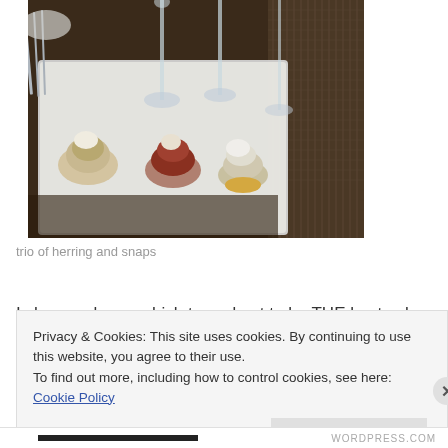[Figure (photo): Photo of a white rectangular tray on a wooden table with three small food items (herring preparations) and several tall champagne/shot glasses, with silverware and a bamboo placemat visible in the background.]
trio of herring and snaps
I chose salmon, which turned out to be THE best salmon
Privacy & Cookies: This site uses cookies. By continuing to use this website, you agree to their use.
To find out more, including how to control cookies, see here: Cookie Policy